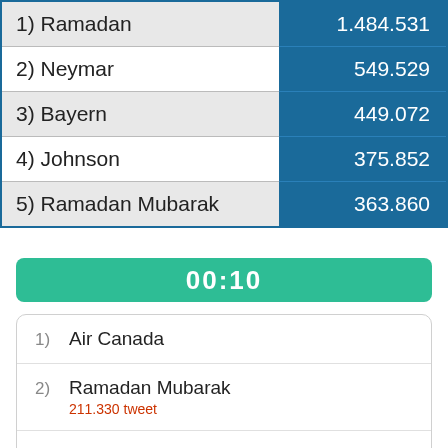| Name | Count |
| --- | --- |
| 1) Ramadan | 1.484.531 |
| 2) Neymar | 549.529 |
| 3) Bayern | 449.072 |
| 4) Johnson | 375.852 |
| 5) Ramadan Mubarak | 363.860 |
00:10
1) Air Canada
2) Ramadan Mubarak
211.330 tweet
3) Connor Brown
4) #FireLecce